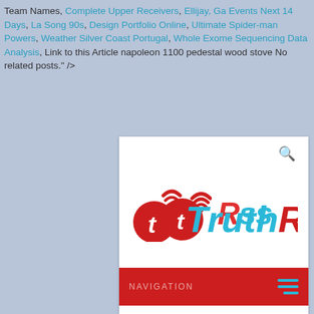Team Names, Complete Upper Receivers, Ellijay, Ga Events Next 14 Days, La Song 90s, Design Portfolio Online, Ultimate Spider-man Powers, Weather Silver Coast Portugal, Whole Exome Sequencing Data Analysis, Link to this Article napoleon 1100 pedestal wood stove No related posts." />
[Figure (screenshot): Screenshot of TruthRss website showing logo, navigation bar, and article title 'napoleon 1100 pedestal wood stove']